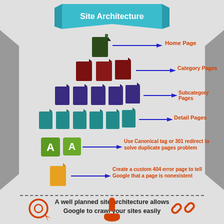[Figure (infographic): Site Architecture infographic showing a pyramid of document icons (Home Page, Category Pages, Subcategory Pages, Detail Pages), with arrows and labels explaining canonical tags, 301 redirects, and custom 404 error pages. Bottom section states 'A well planned site architecture allows Google to crawl your sites easily' with icons for clicking, touching, and linking.]